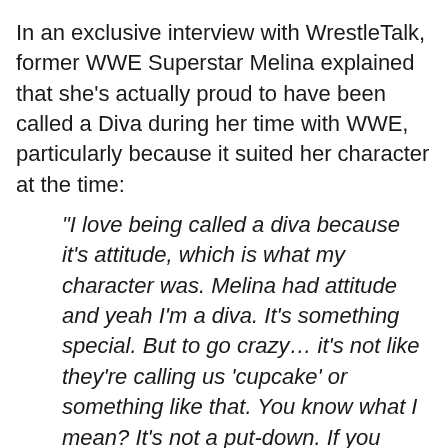In an exclusive interview with WrestleTalk, former WWE Superstar Melina explained that she's actually proud to have been called a Diva during her time with WWE, particularly because it suited her character at the time:
"I love being called a diva because it's attitude, which is what my character was. Melina had attitude and yeah I'm a diva. It's something special. But to go crazy… it's not like they're calling us 'cupcake' or something like that. You know what I mean? It's not a put-down. If you wanna be a singer, like a